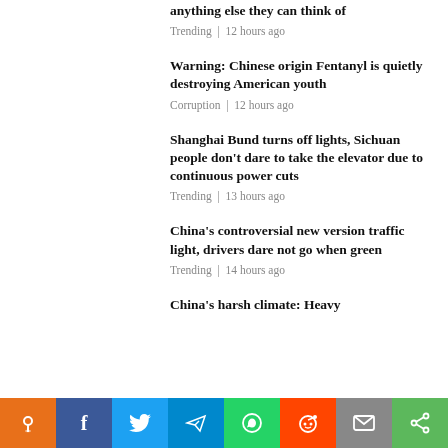anything else they can think of
Trending | 12 hours ago
Warning: Chinese origin Fentanyl is quietly destroying American youth
Corruption | 12 hours ago
Shanghai Bund turns off lights, Sichuan people don't dare to take the elevator due to continuous power cuts
Trending | 13 hours ago
China's controversial new version traffic light, drivers dare not go when green
Trending | 14 hours ago
China's harsh climate: Heavy
[Figure (infographic): Social share bar with icons: pin/location (orange), Facebook (dark blue), Twitter (light blue), Telegram (blue), WhatsApp (green), Reddit (red-orange), Email (gray), Share (green)]